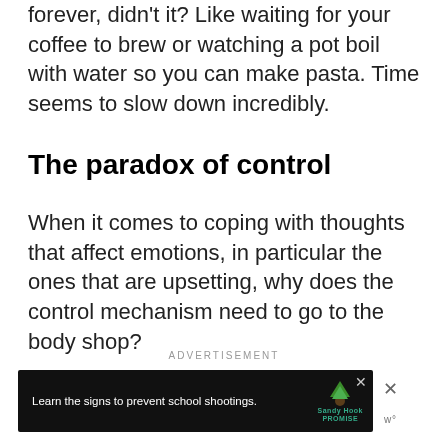forever, didn't it? Like waiting for your coffee to brew or watching a pot boil with water so you can make pasta. Time seems to slow down incredibly.
The paradox of control
When it comes to coping with thoughts that affect emotions, in particular the ones that are upsetting, why does the control mechanism need to go to the body shop?
ADVERTISEMENT
[Figure (other): Advertisement banner: 'Learn the signs to prevent school shootings.' with Sandy Hook Promise logo featuring a green tree. Has close (X) button.]